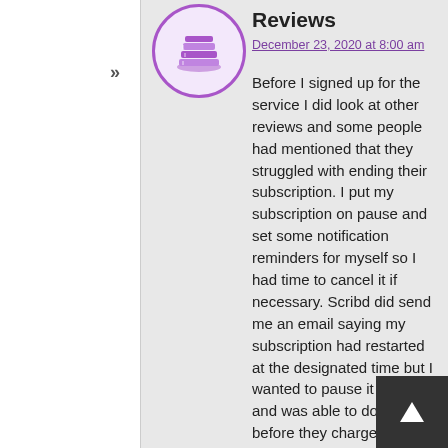Reviews
December 23, 2020 at 8:00 am
Before I signed up for the service I did look at other reviews and some people had mentioned that they struggled with ending their subscription. I put my subscription on pause and set some notification reminders for myself so I had time to cancel it if necessary. Scribd did send me an email saying my subscription had restarted at the designated time but I wanted to pause it again and was able to do so before they charged my account. I did check my credit and PayPal statements to make sure they didn't charge my account and it was all good.
[Figure (logo): Circular purple logo with a stack of books icon, representing a reading/book service (Scribd)]